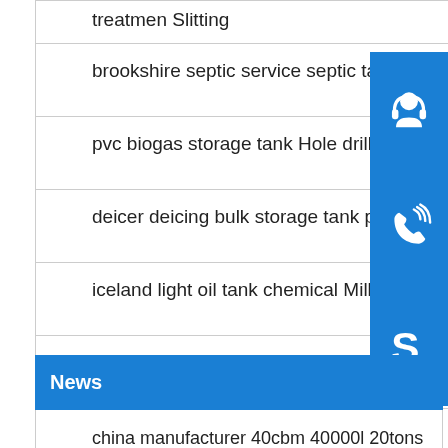treatmen Slitting
brookshire septic service septic tankservice china Hole drilling
pvc biogas storage tank Hole drilling
deicer deicing bulk storage tank polishing
iceland light oil tank chemical Milling
rotomold tank tank portable storage tank Machi…
News
china manufacturer 40cbm 40000l 20tons lpg tank 20 ton 40000 Painting